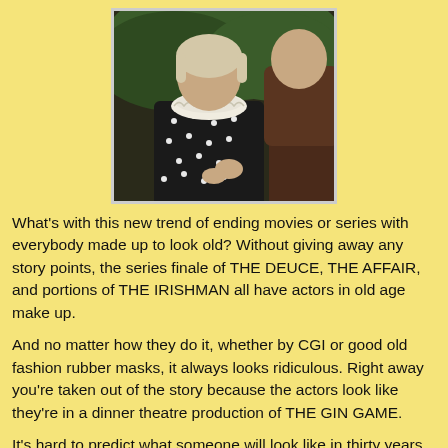[Figure (photo): A person wearing a dark polka dot dress with a white lace collar, photographed outdoors near another person in dark clothing.]
What's with this new trend of ending movies or series with everybody made up to look old? Without giving away any story points, the series finale of THE DEUCE, THE AFFAIR, and portions of THE IRISHMAN all have actors in old age make up.
And no matter how they do it, whether by CGI or good old fashion rubber masks, it always looks ridiculous. Right away you're taken out of the story because the actors look like they're in a dinner theatre production of THE GIN GAME.
It's hard to predict what someone will look like in thirty years. There was that Facebook feature going around recently that would project what you would look like old. Why would I